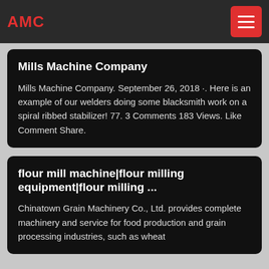AMC
Mills Machine Company
Mills Machine Company. September 26, 2018 ·. Here is an example of our welders doing some blacksmith work on a spiral ribbed stabilizer! 77. 3 Comments 183 Views. Like Comment Share.
flour mill machine|flour milling equipment|flour milling ...
Chinatown Grain Machinery Co., Ltd. provides complete machinery and service for food production and grain processing industries, such as wheat